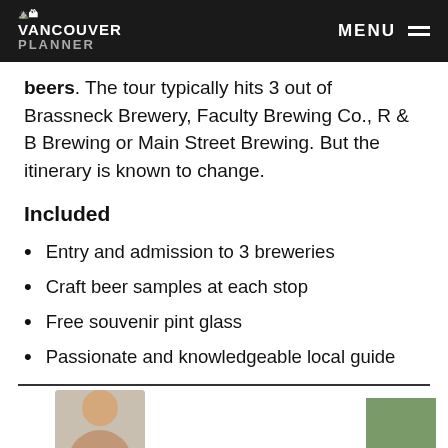Vancouver Planner | MENU
beers. The tour typically hits 3 out of Brassneck Brewery, Faculty Brewing Co., R & B Brewing or Main Street Brewing. But the itinerary is known to change.
Included
Entry and admission to 3 breweries
Craft beer samples at each stop
Free souvenir pint glass
Passionate and knowledgeable local guide
[Figure (other): Orange rounded button with shopping cart icon reading 'Book My Tour Now']
[Figure (photo): Bottom strip showing partial photo of a person and a green book/object]